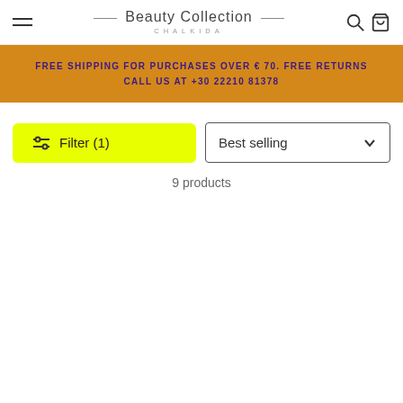Beauty Collection CHALKIDA
FREE SHIPPING FOR PURCHASES OVER € 70. FREE RETURNS
CALL US AT +30 22210 81378
Filter (1)
Best selling
9 products